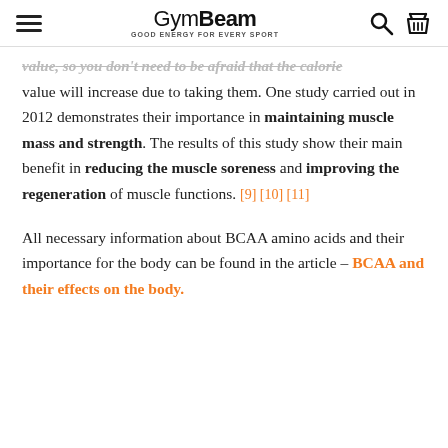GymBeam — GOOD ENERGY FOR EVERY SPORT
value, so you don't need to be afraid that the calorie value will increase due to taking them. One study carried out in 2012 demonstrates their importance in maintaining muscle mass and strength. The results of this study show their main benefit in reducing the muscle soreness and improving the regeneration of muscle functions. [9] [10] [11]
All necessary information about BCAA amino acids and their importance for the body can be found in the article – BCAA and their effects on the body.